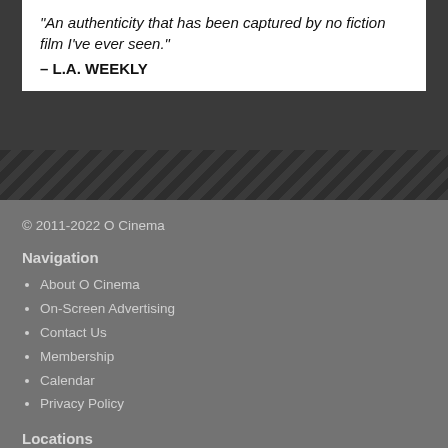"An authenticity that has been captured by no fiction film I've ever seen."
– L.A. WEEKLY
© 2011-2022 O Cinema
Navigation
About O Cinema
On-Screen Advertising
Contact Us
Membership
Calendar
Privacy Policy
Locations
O Cinema South Beach
Upcoming Events
Marcel the Shell with Shoes On